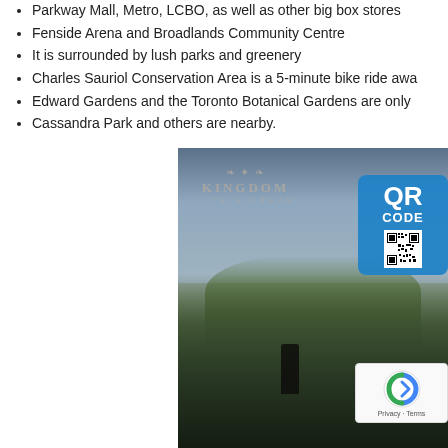Parkway Mall, Metro, LCBO, as well as other big box stores
Fenside Arena and Broadlands Community Centre
It is surrounded by lush parks and greenery
Charles Sauriol Conservation Area is a 5-minute bike ride away
Edward Gardens and the Toronto Botanical Gardens are only
Cassandra Park and others are nearby.
[Figure (photo): Architectural rendering of a rooftop terrace/balcony at dusk with a person grilling, lush trees and city view in background, with Kingdom logo watermark and a QR code overlay in top right corner, and a reCAPTCHA badge in lower right.]